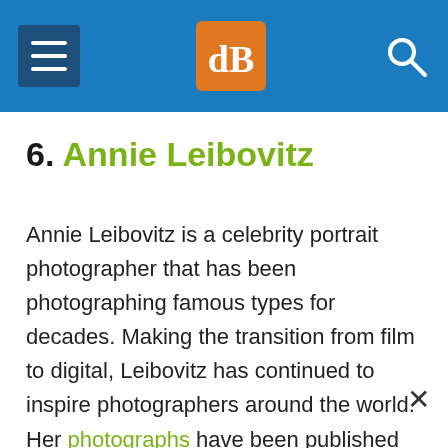dB [logo] — navigation header
6. Annie Leibovitz
Annie Leibovitz is a celebrity portrait photographer that has been photographing famous types for decades. Making the transition from film to digital, Leibovitz has continued to inspire photographers around the world. Her photographs have been published in Rolling Stone and the New York Times. She has